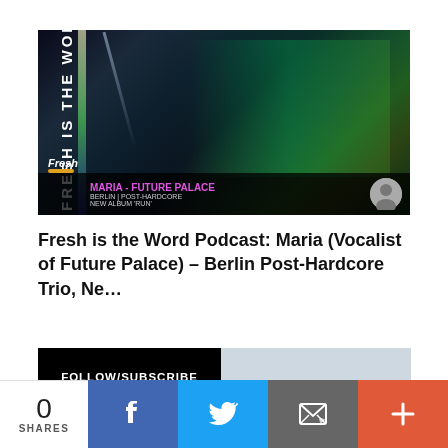[Figure (photo): Podcast cover image for Fresh is the Word featuring Maria from Future Palace. Dark background with colorful lighting effects, two people visible, vertical text reading FRESH IS THE WORD on left side, bottom band showing MARIA - FUTURE PALACE, BERLIN | POST-HARDCORE, NEW ALBUM 'RUN']
Fresh is the Word Podcast: Maria (Vocalist of Future Palace) – Berlin Post-Hardcore Trio, Ne...
[Figure (infographic): FOLLOW/SUBSCRIBE button banner - black left half with white text, light blue/grey right half]
[Figure (infographic): Social media icons row: Twitter (blue bird), Facebook (blue f), Instagram (gradient camera), Apple Music (red circular logo), and black square icon]
[Figure (infographic): Share bar at bottom: 0 SHARES count, Facebook share button (blue), Twitter share button (light blue), Email/envelope button (grey), More button (orange-red with plus sign)]